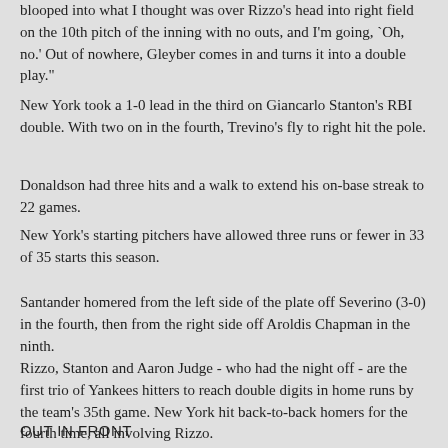blooped into what I thought was over Rizzo's head into right field on the 10th pitch of the inning with no outs, and I'm going, `Oh, no.' Out of nowhere, Gleyber comes in and turns it into a double play."
New York took a 1-0 lead in the third on Giancarlo Stanton's RBI double. With two on in the fourth, Trevino's fly to right hit the pole.
Donaldson had three hits and a walk to extend his on-base streak to 22 games.
New York's starting pitchers have allowed three runs or fewer in 33 of 35 starts this season.
Santander homered from the left side of the plate off Severino (3-0) in the fourth, then from the right side off Aroldis Chapman in the ninth.
Rizzo, Stanton and Aaron Judge - who had the night off - are the first trio of Yankees hitters to reach double digits in home runs by the team's 35th game. New York hit back-to-back homers for the fourth time, all involving Rizzo.
OUT IN FRONT